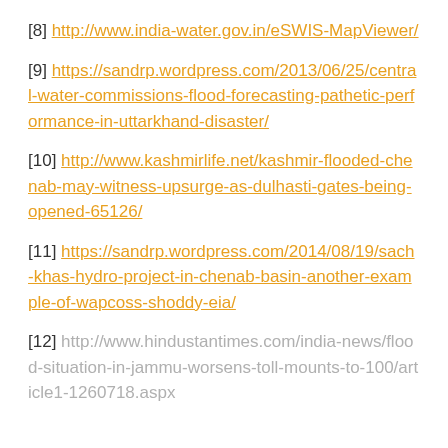[8] http://www.india-water.gov.in/eSWIS-MapViewer/
[9] https://sandrp.wordpress.com/2013/06/25/central-water-commissions-flood-forecasting-pathetic-performance-in-uttarkhand-disaster/
[10] http://www.kashmirlife.net/kashmir-flooded-chenab-may-witness-upsurge-as-dulhasti-gates-being-opened-65126/
[11] https://sandrp.wordpress.com/2014/08/19/sach-khas-hydro-project-in-chenab-basin-another-example-of-wapcoss-shoddy-eia/
[12] http://www.hindustantimes.com/india-news/flood-situation-in-jammu-worsens-toll-mounts-to-100/article1-1260718.aspx